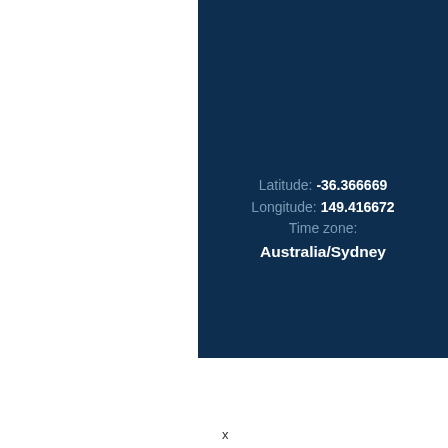Latitude: -36.366669
Longitude: 149.416672
Time zone:
Australia/Sydney